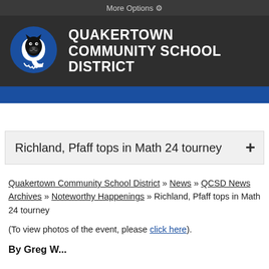More Options ⚙
[Figure (logo): Quakertown Community School District logo: Blue Q with panther mascot]
QUAKERTOWN COMMUNITY SCHOOL DISTRICT
Richland, Pfaff tops in Math 24 tourney
Quakertown Community School District » News » QCSD News Archives » Noteworthy Happenings » Richland, Pfaff tops in Math 24 tourney
(To view photos of the event, please click here).
By Greg W...